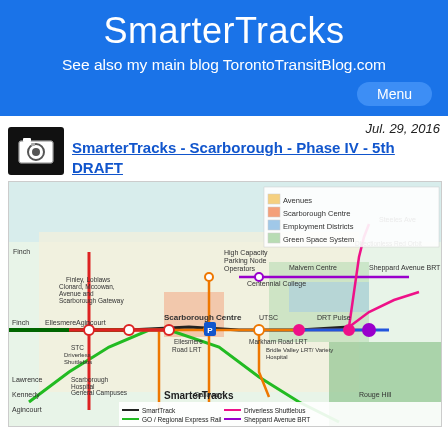SmarterTracks
See also my main blog TorontoTransitBlog.com
Menu
Jul. 29, 2016
SmarterTracks - Scarborough - Phase IV - 5th DRAFT
[Figure (map): Transit map of Scarborough showing SmarterTracks proposal with various transit lines including SmartTrack, GO/Regional Express Rail, Line 2 Bloor-Danforth Subway, Driverless Shuttlebus, and Sheppard Avenue BRT. Map shows Scarborough Centre, UTSC, Centennial College, Malvern Centre, and various LRT and BRT routes. Legend shows Avenues, Scarborough Centre, Employment Districts, and Green Space System.]